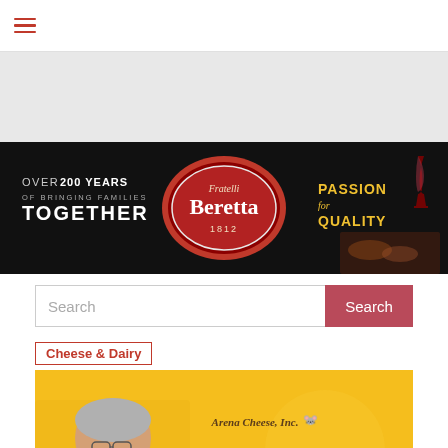Navigation menu (hamburger icon)
[Figure (illustration): Gray advertisement placeholder area]
[Figure (illustration): Fratelli Beretta banner: Over 200 years of bringing families together. Beretta 1812 logo. Passion for Quality. Dark background with charcuterie and wine glass.]
Search
Cheese & Dairy
[Figure (photo): Bill Hanson, Vice President of Arena Cheese, Inc., talks Colby-Jack. Yellow background with photo of Bill Hanson on the left and Arena Cheese Inc. branding text on the right.]